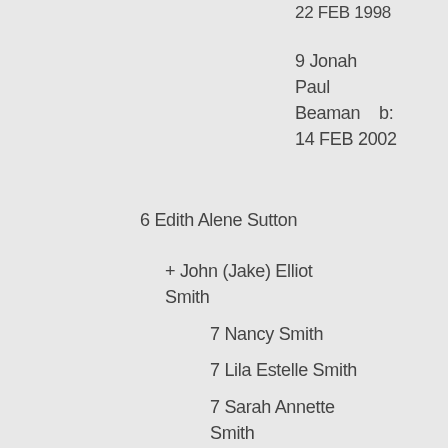22 FEB 1998
9 Jonah Paul Beaman   b: 14 FEB 2002
6 Edith Alene Sutton
+ John (Jake) Elliot Smith
7 Nancy Smith
7 Lila Estelle Smith
7 Sarah Annette Smith
6 Charlotte Virginia Sutton
b: 3 JUL 1931  d: 22 JAN 2019
+ Floyd Barwick, Jr. Jones   b: 20 OCT 1929 d: 3